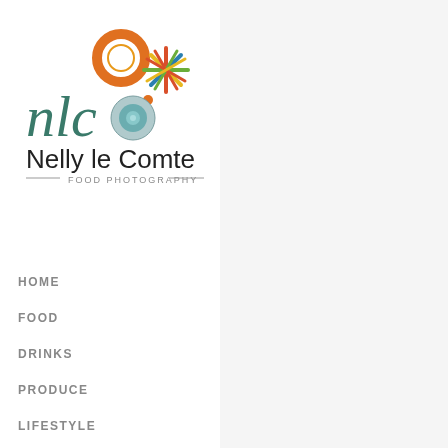[Figure (logo): Nelly le Comte Food Photography logo with colorful circular design elements and stylized 'nlc' text]
HOME
FOOD
DRINKS
PRODUCE
LIFESTYLE
PEOPLE
Throughout h sculptors, arc mathematicia implemented they have bec we appreciate things around A balanced fo set up out of s many element we place in sp take more ene engaging ima